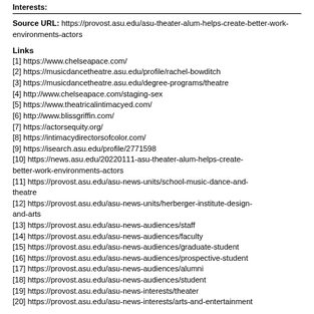Interests:
Source URL: https://provost.asu.edu/asu-theater-alum-helps-create-better-work-environments-actors
Links
[1] https://www.chelseapace.com/
[2] https://musicdancetheatre.asu.edu/profile/rachel-bowditch
[3] https://musicdancetheatre.asu.edu/degree-programs/theatre
[4] http://www.chelseapace.com/staging-sex
[5] https://www.theatricalintimacyed.com/
[6] http://www.blissgriffin.com/
[7] https://actorsequity.org/
[8] https://intimacydirectorsofcolor.com/
[9] https://isearch.asu.edu/profile/2771598
[10] https://news.asu.edu/20220111-asu-theater-alum-helps-create-better-work-environments-actors
[11] https://provost.asu.edu/asu-news-units/school-music-dance-and-theatre
[12] https://provost.asu.edu/asu-news-units/herberger-institute-design-and-arts
[13] https://provost.asu.edu/asu-news-audiences/staff
[14] https://provost.asu.edu/asu-news-audiences/faculty
[15] https://provost.asu.edu/asu-news-audiences/graduate-student
[16] https://provost.asu.edu/asu-news-audiences/prospective-student
[17] https://provost.asu.edu/asu-news-audiences/alumni
[18] https://provost.asu.edu/asu-news-audiences/student
[19] https://provost.asu.edu/asu-news-interests/theater
[20] https://provost.asu.edu/asu-news-interests/arts-and-entertainment